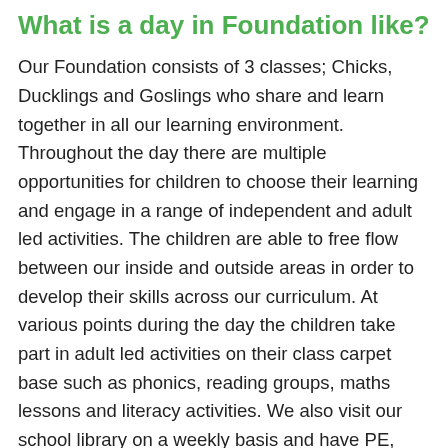What is a day in Foundation like?
Our Foundation consists of 3 classes; Chicks, Ducklings and Goslings who share and learn together in all our learning environment. Throughout the day there are multiple opportunities for children to choose their learning and engage in a range of independent and adult led activities. The children are able to free flow between our inside and outside areas in order to develop their skills across our curriculum. At various points during the day the children take part in adult led activities on their class carpet base such as phonics, reading groups, maths lessons and literacy activities. We also visit our school library on a weekly basis and have PE, Gymnastics, Music and Commando Joe's lessons with specialist teachers. At lunchtime we eat our